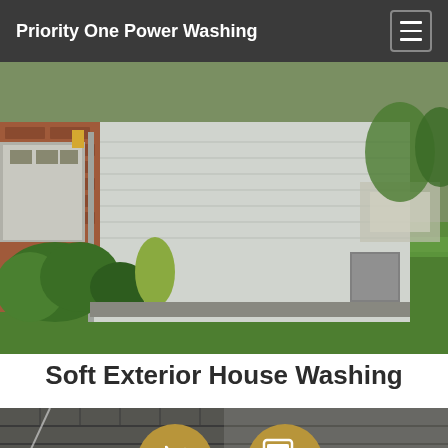Priority One Power Washing
[Figure (photo): Exterior of a brick house with white vinyl siding, green lawn, landscaping bushes, and a utility trailer visible in the background.]
Soft Exterior House Washing
[Figure (photo): Dark asphalt roof shingles with two gold circular contact icons overlaid — a phone/call icon and an SMS/message icon.]